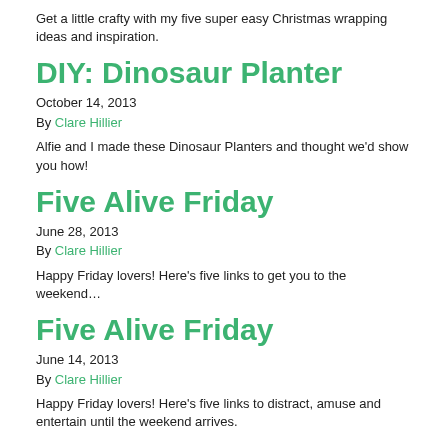Get a little crafty with my five super easy Christmas wrapping ideas and inspiration.
DIY: Dinosaur Planter
October 14, 2013
By Clare Hillier
Alfie and I made these Dinosaur Planters and thought we'd show you how!
Five Alive Friday
June 28, 2013
By Clare Hillier
Happy Friday lovers! Here's five links to get you to the weekend…
Five Alive Friday
June 14, 2013
By Clare Hillier
Happy Friday lovers! Here's five links to distract, amuse and entertain until the weekend arrives.